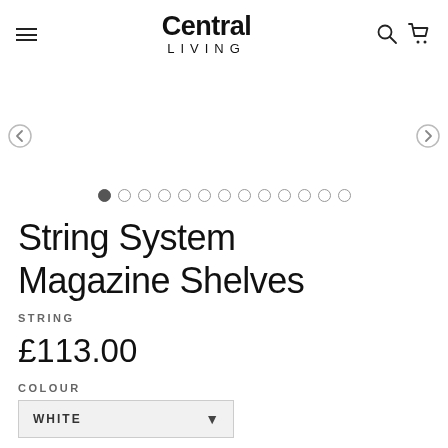Central Living — navigation bar with hamburger menu, logo, search and cart icons
[Figure (other): Product image carousel with navigation arrows and 13 pagination dots, first dot active]
String System Magazine Shelves
STRING
£113.00
COLOUR
WHITE